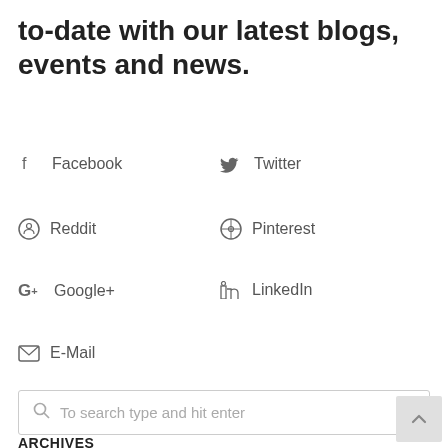to-date with our latest blogs, events and news.
Facebook
Twitter
Reddit
Pinterest
Google+
LinkedIn
E-Mail
To search type and hit enter
ARCHIVES